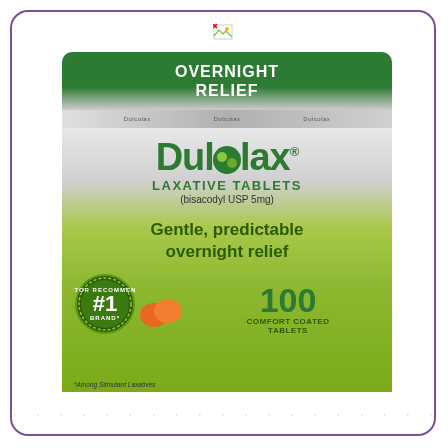[Figure (photo): Dulcolax Laxative Tablets product box. Green and silver packaging showing 'Overnight Relief' at top in dark green, Dulcolax brand name in large green text with circular logo, 'LAXATIVE TABLETS (bisacodyl USP 5mg)' below, tagline 'Gentle, predictable overnight relief', #1 Doctor Recommended Brand badge, orange tablets graphic, and '100 Comfort Coated Tablets' count. Bottom footnote: *Among Stimulant Laxatives.]
- - - - - - - - - - - - - - - - - - - - - -